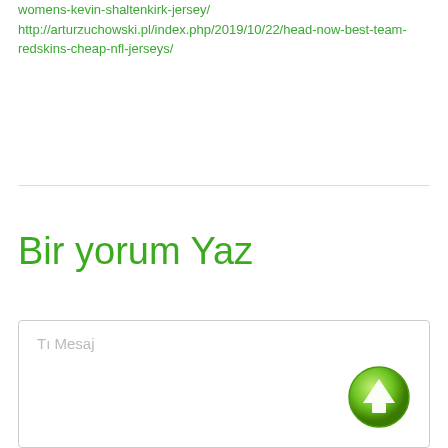womens-kevin-shaltenkirk-jersey/ http://arturzuchowski.pl/index.php/2019/10/22/head-now-best-team-redskins-cheap-nfl-jerseys/
Bir yorum Yaz
Tı Mesaj